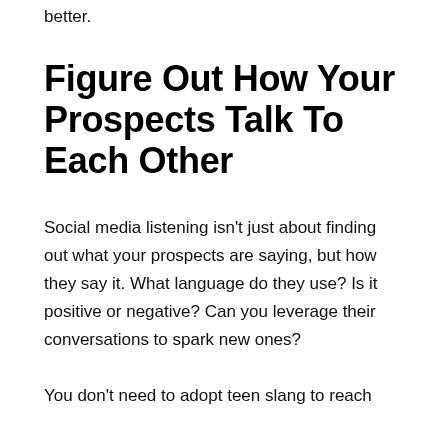better.
Figure Out How Your Prospects Talk To Each Other
Social media listening isn't just about finding out what your prospects are saying, but how they say it. What language do they use? Is it positive or negative? Can you leverage their conversations to spark new ones?
You don't need to adopt teen slang to reach